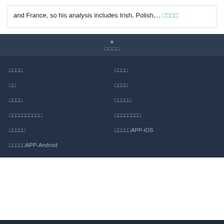and France, so his analysis includes Irish, Polish,... □□□□
▲ □□□□
□□□□
□□□□
□□
□□□□
□□□□
□□□□□
□□□□□□□□□□
□□□□□□□□
□□□□□
□□□□□APP-iOS
□□□□□APP-Android